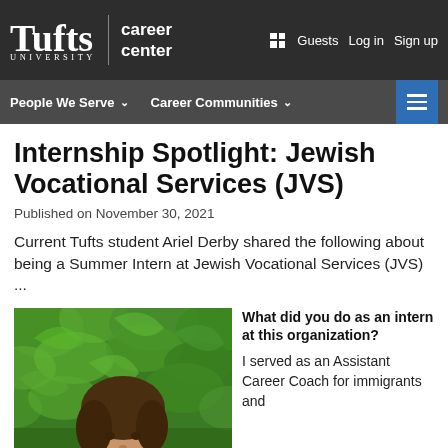[Figure (screenshot): Tufts University Career Center website header with dark navigation bar showing logo, 'career center' text, and links: Guests, Log in, Sign up]
People We Serve ∨   Career Communities ∨
Internship Spotlight: Jewish Vocational Services (JVS)
Published on November 30, 2021
Current Tufts student Ariel Derby shared the following about being a Summer Intern at Jewish Vocational Services (JVS) ...
[Figure (photo): Photo of Ariel Derby smiling in front of green foliage]
What did you do as an intern at this organization? I served as an Assistant Career Coach for immigrants and